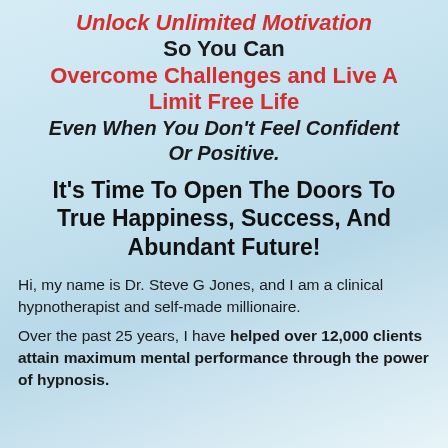Unlock Unlimited Motivation So You Can Overcome Challenges and Live A Limit Free Life Even When You Don't Feel Confident Or Positive.
It's Time To Open The Doors To True Happiness, Success, And Abundant Future!
Hi, my name is Dr. Steve G Jones, and I am a clinical hypnotherapist and self-made millionaire.
Over the past 25 years, I have helped over 12,000 clients attain maximum mental performance through the power of hypnosis.